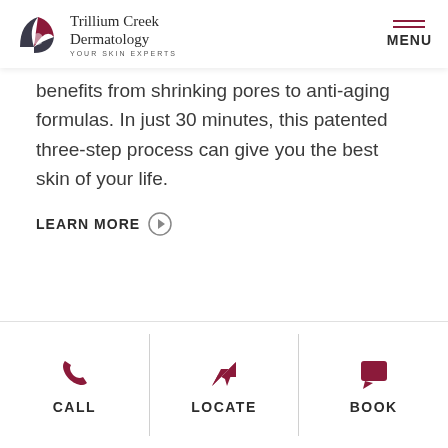Trillium Creek Dermatology — YOUR SKIN EXPERTS | MENU
benefits from shrinking pores to anti-aging formulas. In just 30 minutes, this patented three-step process can give you the best skin of your life.
LEARN MORE
WE'RE HERE FOR
CALL | LOCATE | BOOK